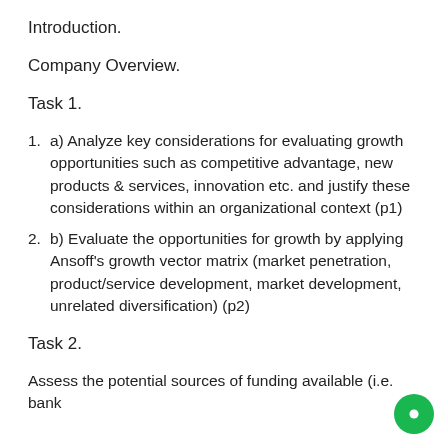Introduction.
Company Overview.
Task 1.
a) Analyze key considerations for evaluating growth opportunities such as competitive advantage, new products & services, innovation etc. and justify these considerations within an organizational context (p1)
b) Evaluate the opportunities for growth by applying Ansoff’s growth vector matrix (market penetration, product/service development, market development, unrelated diversification) (p2)
Task 2.
Assess the potential sources of funding available (i.e. bank